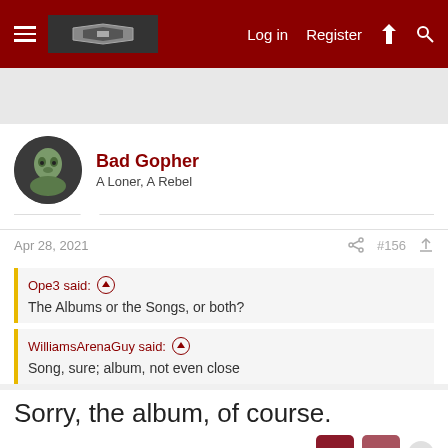Log in  Register
Bad Gopher
A Loner, A Rebel
Apr 28, 2021  #156
Ope3 said:
The Albums or the Songs, or both?
WilliamsArenaGuy said:
Song, sure; album, not even close
Sorry, the album, of course.
Last edited: Apr 28, 2021
Bad Gopher